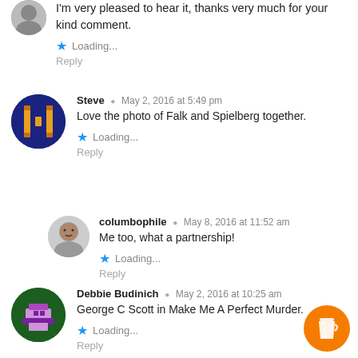I'm very pleased to hear it, thanks very much for your kind comment.
Loading...
Reply
Steve · May 2, 2016 at 5:49 pm
Love the photo of Falk and Spielberg together.
Loading...
Reply
columbophile · May 8, 2016 at 11:52 am
Me too, what a partnership!
Loading...
Reply
Debbie Budinich · May 2, 2016 at 10:25 am
George C Scott in Make Me A Perfect Murder.
Loading...
Reply